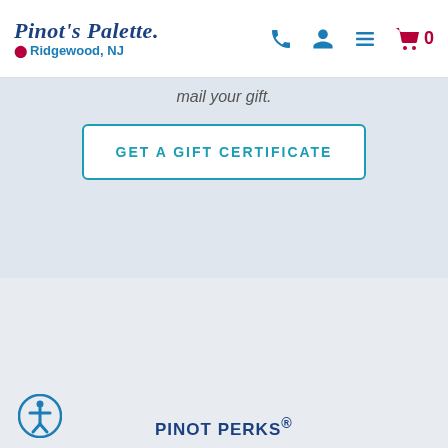Pinot's Palette — Ridgewood, NJ
mail your gift.
GET A GIFT CERTIFICATE
[Figure (illustration): PinotPerks loyalty card with colorful dots background and white label reading iPinotPerks]
Register For Class
$30
PINOT PERKS®